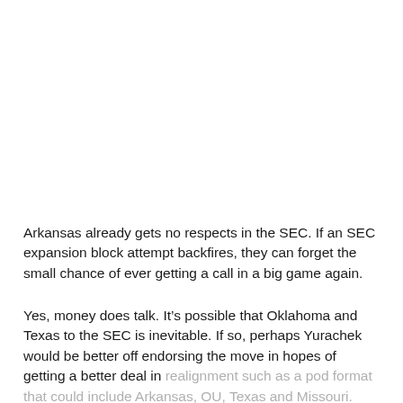Arkansas already gets no respects in the SEC. If an SEC expansion block attempt backfires, they can forget the small chance of ever getting a call in a big game again.
Yes, money does talk. It's possible that Oklahoma and Texas to the SEC is inevitable. If so, perhaps Yurachek would be better off endorsing the move in hopes of getting a better deal in realignment such as a pod format that could include Arkansas, OU, Texas and Missouri.